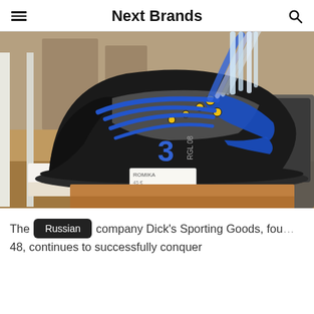Next Brands
[Figure (photo): A black high-top sneaker with blue laces and yellow eyelets, displaying the number '3' and RGL logo on the side, displayed on a wooden shelf with pens/pencils inserted in it. A price tag is visible. Another dark shoe is partially visible on the right.]
The company Dick's Sporting Goods, fou... ...48, continues to successfully conquer